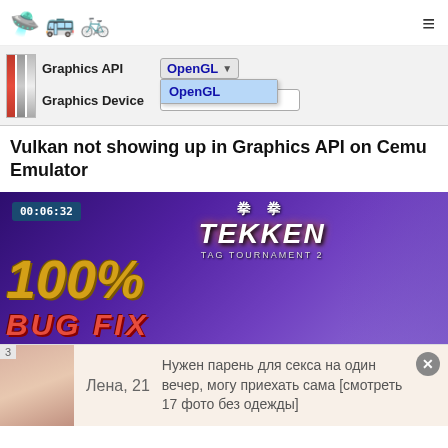Navigation bar with icons and hamburger menu
[Figure (screenshot): Screenshot of Cemu Emulator settings showing Graphics API dropdown with OpenGL selected, and Graphics Device field]
Vulkan not showing up in Graphics API on Cemu Emulator
[Figure (screenshot): Tekken Tag Tournament 2 video thumbnail showing 100% and BUG FIX text, 00:06:32 timer]
[Figure (photo): Advertisement banner with photo of young woman named Лена, 21, with Russian text: Нужен парень для секса на один вечер, могу приехать сама [смотреть 17 фото без одежды]]